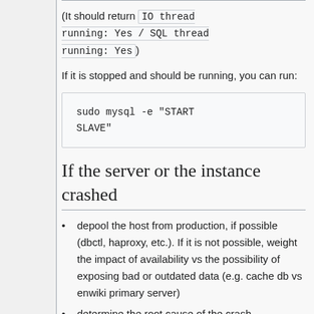(It should return IO thread running: Yes / SQL thread running: Yes)
If it is stopped and should be running, you can run:
If the server or the instance crashed
depool the host from production, if possible (dbctl, haproxy, etc.). If it is not possible, weight the impact of availability vs the possibility of exposing bad or outdated data (e.g. cache db vs enwiki primary server)
determine the root cause of the crash